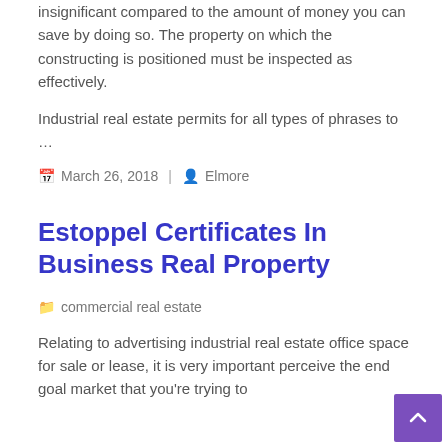insignificant compared to the amount of money you can save by doing so. The property on which the constructing is positioned must be inspected as effectively.
Industrial real estate permits for all types of phrases to …
March 26, 2018 | Elmore
Estoppel Certificates In Business Real Property
commercial real estate
Relating to advertising industrial real estate office space for sale or lease, it is very important perceive the end goal market that you're trying to